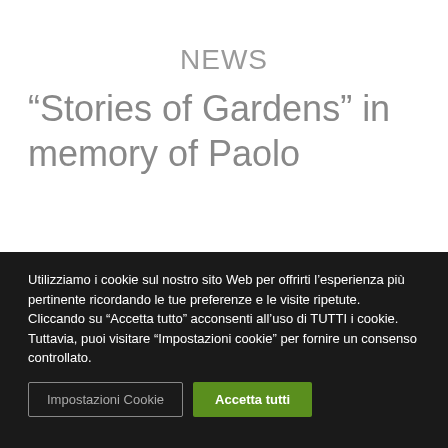NEWS
“Stories of Gardens” in memory of Paolo
Utilizziamo i cookie sul nostro sito Web per offrirti l’esperienza più pertinente ricordando le tue preferenze e le visite ripetute. Cliccando su “Accetta tutto” acconsenti all’uso di TUTTI i cookie. Tuttavia, puoi visitare “Impostazioni cookie” per fornire un consenso controllato.
Impostazioni Cookie | Accetta tutti